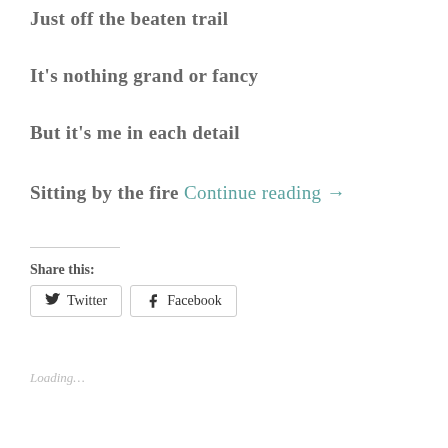Just off the beaten trail
It's nothing grand or fancy
But it's me in each detail
Sitting by the fire Continue reading →
Share this:
Twitter   Facebook
Loading...